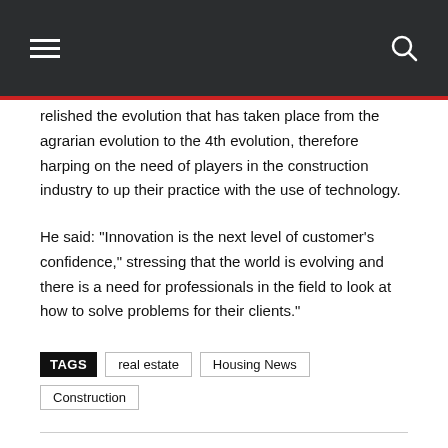Navigation header with hamburger menu and search icon
relished the evolution that has taken place from the agrarian evolution to the 4th evolution, therefore harping on the need of players in the construction industry to up their practice with the use of technology.
He said: “Innovation is the next level of customer’s confidence,” stressing that the world is evolving and there is a need for professionals in the field to look at how to solve problems for their clients.”
TAGS: real estate, Housing News, Construction
Share buttons: Facebook, Twitter, WhatsApp, More